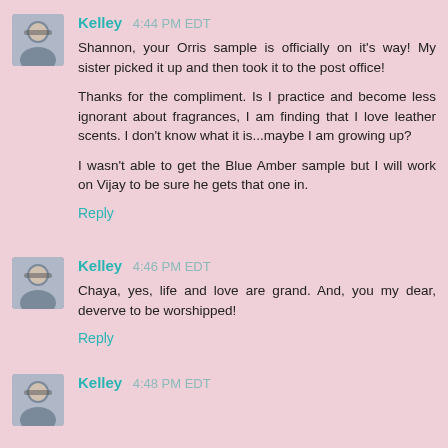[Figure (photo): Avatar photo of user Kelley, a person with glasses]
Kelley 4:44 PM EDT
Shannon, your Orris sample is officially on it's way! My sister picked it up and then took it to the post office!

Thanks for the compliment. Is I practice and become less ignorant about fragrances, I am finding that I love leather scents. I don't know what it is...maybe I am growing up?

I wasn't able to get the Blue Amber sample but I will work on Vijay to be sure he gets that one in.
Reply
[Figure (photo): Avatar photo of user Kelley, a person with glasses]
Kelley 4:46 PM EDT
Chaya, yes, life and love are grand. And, you my dear, deverve to be worshipped!
Reply
[Figure (photo): Avatar photo of user Kelley, a person with glasses]
Kelley 4:48 PM EDT